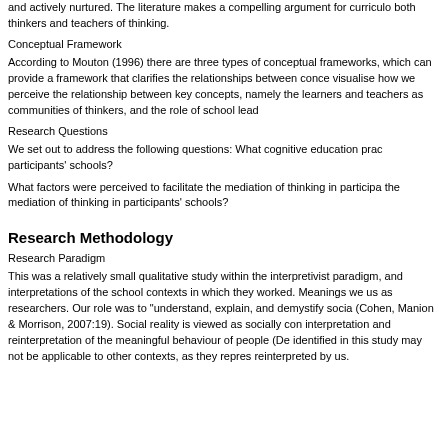and actively nurtured. The literature makes a compelling argument for curriculo both thinkers and teachers of thinking.
Conceptual Framework
According to Mouton (1996) there are three types of conceptual frameworks, which can provide a framework that clarifies the relationships between conce visualise how we perceive the relationship between key concepts, namely the learners and teachers as communities of thinkers, and the role of school lead
Research Questions
We set out to address the following questions: What cognitive education prac participants' schools?
What factors were perceived to facilitate the mediation of thinking in participa the mediation of thinking in participants' schools?
Research Methodology
Research Paradigm
This was a relatively small qualitative study within the interpretivist paradigm, and interpretations of the school contexts in which they worked. Meanings we us as researchers. Our role was to "understand, explain, and demystify socia (Cohen, Manion & Morrison, 2007:19). Social reality is viewed as socially con interpretation and reinterpretation of the meaningful behaviour of people (De identified in this study may not be applicable to other contexts, as they repres reinterpreted by us.